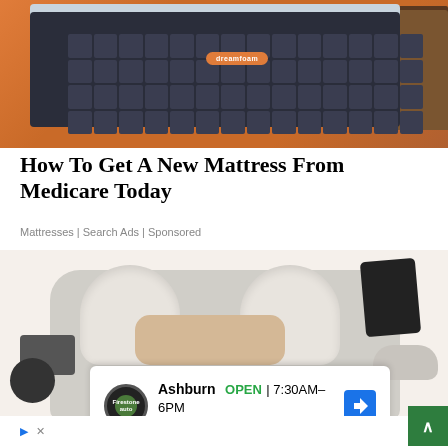[Figure (photo): Photo of a dark navy/charcoal quilted mattress with an orange brand label, displayed against an orange/terracotta background with a wooden nightstand visible on the right]
How To Get A New Mattress From Medicare Today
Mattresses | Search Ads | Sponsored
[Figure (photo): Photo of a white/grey luxury smart bed with rounded headboard sections, pillows, a tablet holder on the right side, a speaker on the lower left, and side table attachments. An ad banner overlay at the bottom shows Ashburn OPEN 7:30AM-6PM, 43781 Parkhurst Plaza Ashburn, with a Firestone Auto Care logo and navigation arrow icon.]
Ashburn  OPEN | 7:30AM–6PM
43781 Parkhurst Plaza, Ashburn